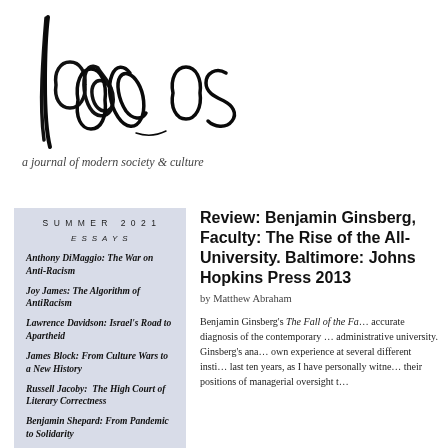[Figure (logo): Logos journal handwritten-style logo in black ink calligraphy]
a journal of modern society & culture
SUMMER 2021
ESSAYS
Anthony DiMaggio: The War on Anti-Racism
Joy James: The Algorithm of AntiRacism
Lawrence Davidson: Israel's Road to Apartheid
James Block: From Culture Wars to a New History
Russell Jacoby: The High Court of Literary Correctness
Benjamin Shepard: From Pandemic to Solidarity
Review: Benjamin Ginsberg, Faculty: The Rise of the All-University. Baltimore: Johns Hopkins Press 2013
by Matthew Abraham
Benjamin Ginsberg's The Fall of the Fa... accurate diagnosis of the contemporary ... administrative university. Ginsberg's ana... own experience at several different insti... last ten years, as I have personally witne... their positions of managerial oversight t...